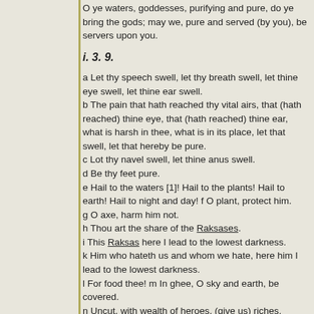O ye waters, goddesses, purifying and pure, do ye bring the gods; may we, pure and served (by you), be servers upon you.
i. 3. 9.
a Let thy speech swell, let thy breath swell, let thine eye swell, let thine ear swell.
b The pain that hath reached thy vital airs, that (hath reached) thine eye, that (hath reached) thine ear, what is harsh in thee, what is in its place, let that swell, let that hereby be pure.
c Lot thy navel swell, let thine anus swell.
d Be thy feet pure.
e Hail to the waters [1]! Hail to the plants! Hail to earth! Hail to night and day! f O plant, protect him.
g O axe, harm him not.
h Thou art the share of the Raksases.
i This Raksas here I lead to the lowest darkness.
k Him who hateth us and whom we hate, here him I lead to the lowest darkness.
l For food thee! m In ghee, O sky and earth, be covered.
n Uncut, with wealth of heroes, (give us) riches.
o Fare along the broad atmosphere.
p O Vayu, taste the drops.
q Hail! go to Urdhvanabhas, offspring of the Maruts.
i. 3. 10.